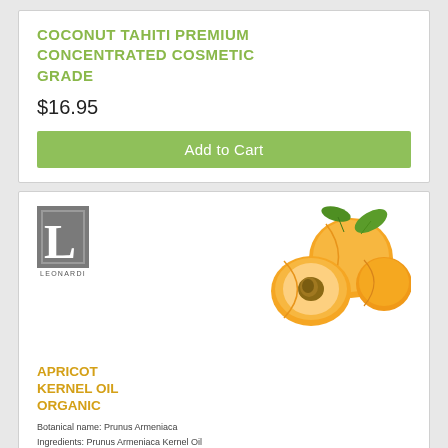COCONUT TAHITI PREMIUM CONCENTRATED COSMETIC GRADE
$16.95
Add to Cart
[Figure (logo): Leonardi brand logo: large stylized letter L in a gray square with 'LEONARDI' text below]
[Figure (photo): Two whole apricots and one halved apricot with pit visible, with green leaves, on white background]
APRICOT KERNEL OIL ORGANIC
Botanical name: Prunus Armeniaca
Ingredients: Prunus Armeniaca Kernel Oil
Extraction method: Cold Pressed
Country of Origin: Australia
Proudly Australia made